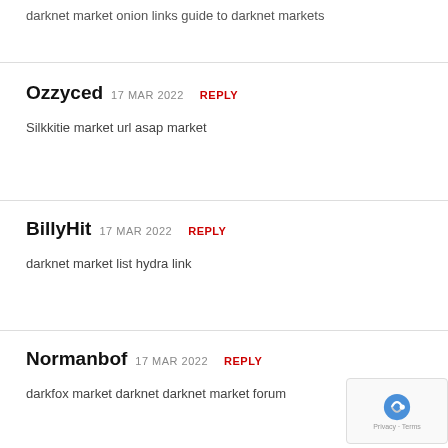darknet market onion links guide to darknet markets
Ozzyced 17 MAR 2022 REPLY
Silkkitie market url asap market
BillyHit 17 MAR 2022 REPLY
darknet market list hydra link
Normanbof 17 MAR 2022 REPLY
darkfox market darknet darknet market forum